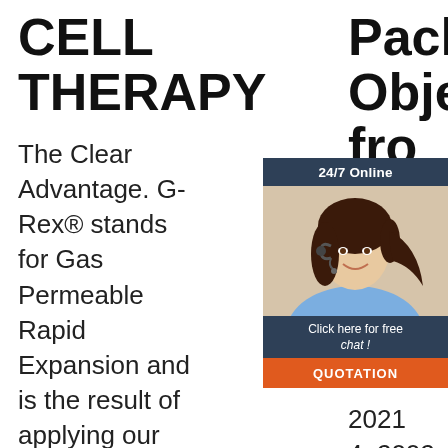CELL THERAPY
The Clear Advantage. G-Rex® stands for Gas Permeable Rapid Expansion and is the result of applying our disruptive technology to the needs of immunotherapy.
Pack Objects fro Co usi PL La
2021 4u2002-u2002Box is filled with five objects or counter output is ON and
[Figure (infographic): 24/7 Online chat widget with photo of woman wearing headset, dark navy header, 'Click here for free chat!' text, and orange QUOTATION button]
[Figure (logo): Orange TOP logo with dot pattern]